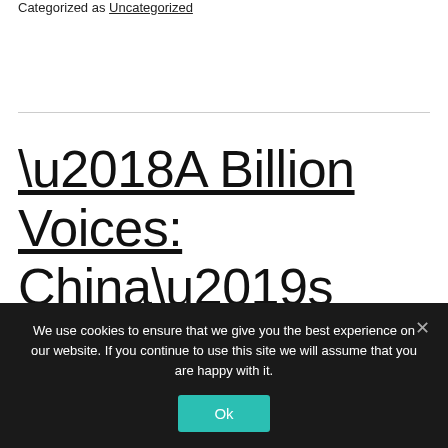Categorized as Uncategorized
'A Billion Voices: China's Search for a Common Language'
We use cookies to ensure that we give you the best experience on our website. If you continue to use this site we will assume that you are happy with it.